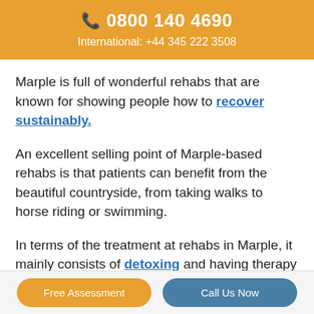📞 0800 140 4690
International: +44 345 222 3508
Marple is full of wonderful rehabs that are known for showing people how to recover sustainably.
An excellent selling point of Marple-based rehabs is that patients can benefit from the beautiful countryside, from taking walks to horse riding or swimming.
In terms of the treatment at rehabs in Marple, it mainly consists of detoxing and having therapy sessions.
Free Assessment | Call Us Now